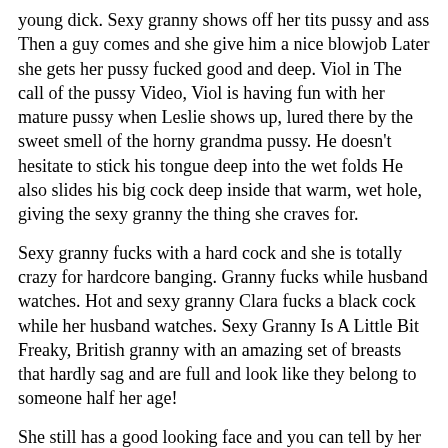young dick. Sexy granny shows off her tits pussy and ass Then a guy comes and she give him a nice blowjob Later she gets her pussy fucked good and deep. Viol in The call of the pussy Video, Viol is having fun with her mature pussy when Leslie shows up, lured there by the sweet smell of the horny grandma pussy. He doesn't hesitate to stick his tongue deep into the wet folds He also slides his big cock deep inside that warm, wet hole, giving the sexy granny the thing she craves for.
Sexy granny fucks with a hard cock and she is totally crazy for hardcore banging. Granny fucks while husband watches. Hot and sexy granny Clara fucks a black cock while her husband watches. Sexy Granny Is A Little Bit Freaky, British granny with an amazing set of breasts that hardly sag and are full and look like they belong to someone half her age!
She still has a good looking face and you can tell by her nipples being pierced that she likes to get a little freaky. She keeps her pussy nicely shaved too. Chloe gives a bit of a blowjob but is a little reserved about going crazy on it but the guy gets off on it and can't wait to sink his cock inside of her wet pussy. He really pumps her good from behind and while he continues to ram it deep inside her you see those breasts just bouncing to the rhythm.
Reproduction in any form is forbidden. Search for porn: Search. video. To never go disbanded. You might enjoy these as well as. This is t